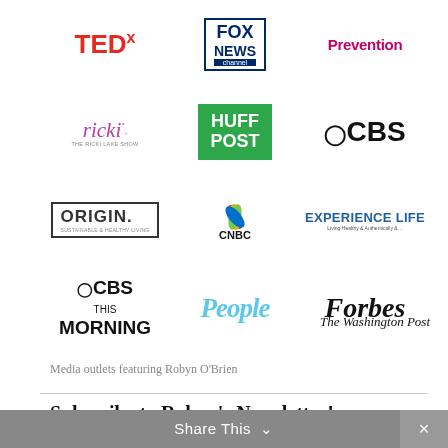[Figure (logo): Grid of media outlet logos: TEDx, Fox News Channel, Prevention, Ricki (The Ricki Lake Show), Huff Post, CBS, Origin, CNBC, Experience Life, CBS This Morning, People, Forbes, The Washington Post]
Media outlets featuring Robyn O'Brien
Subscribe to Robyn's Newsletter!
First Name:
Your first name
Last Name:
Share This